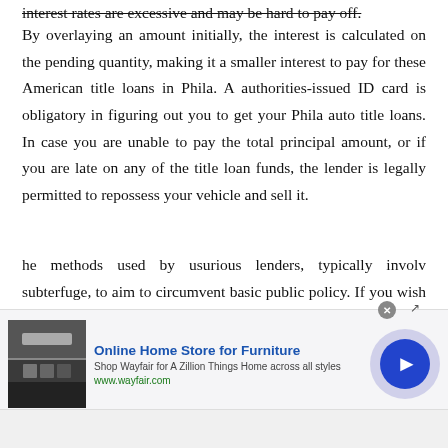interest rates are excessive and may be hard to pay off. By overlaying an amount initially, the interest is calculated on the pending quantity, making it a smaller interest to pay for these American title loans in Phila. A authorities-issued ID card is obligatory in figuring out you to get your Phila auto title loans. In case you are unable to pay the total principal amount, or if you are late on any of the title loan funds, the lender is legally permitted to repossess your vehicle and sell it.
he methods used by usurious lenders, typically involv subterfuge, to aim to circumvent basic public policy. If you wish to take out a title loan for greater than your car's precise worth, there is a chance that your mortgag...
[Figure (screenshot): Advertisement banner for Wayfair Online Home Store for Furniture. Shows furniture image on left, ad text in center with title 'Online Home Store for Furniture', subtitle 'Shop Wayfair for A Zillion Things Home across all styles', URL 'www.wayfair.com', and a blue circular play/arrow button on the right. Close button (x) in top-right area.]